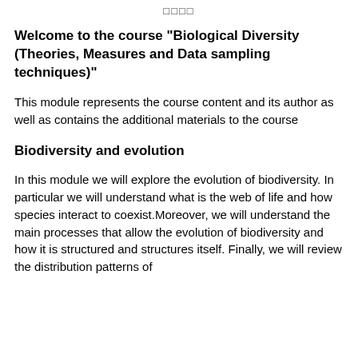□□□□
Welcome to the course "Biological Diversity (Theories, Measures and Data sampling techniques)"
This module represents the course content and its author as well as contains the additional materials to the course
Biodiversity and evolution
In this module we will explore the evolution of biodiversity. In particular we will understand what is the web of life and how species interact to coexist.Moreover, we will understand the main processes that allow the evolution of biodiversity and how it is structured and structures itself. Finally, we will review the distribution patterns of